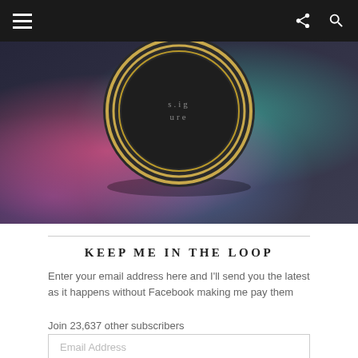Navigation bar with menu, share, and search icons
[Figure (photo): Close-up photo of a dark circular tin/compact with gold rings on the lid, resting on a colorful glittery surface with pink, teal, and purple hues. Partial text visible on lid reading 'signature'.]
KEEP ME IN THE LOOP
Enter your email address here and I'll send you the latest as it happens without Facebook making me pay them
Join 23,637 other subscribers
Email Address
Get Email Updates